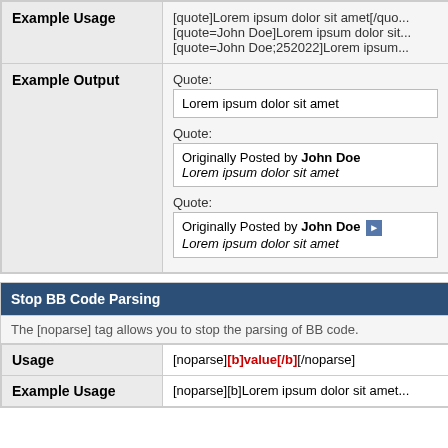|  |  |
| --- | --- |
| Example Usage | [quote]Lorem ipsum dolor sit amet[/quo...
[quote=John Doe]Lorem ipsum dolor sit...
[quote=John Doe;252022]Lorem ipsum... |
| Example Output | Quote:
Lorem ipsum dolor sit amet

Quote:
Originally Posted by John Doe
Lorem ipsum dolor sit amet

Quote:
Originally Posted by John Doe [icon]
Lorem ipsum dolor sit amet |
Stop BB Code Parsing
The [noparse] tag allows you to stop the parsing of BB code.
|  |  |
| --- | --- |
| Usage | [noparse][b]value[/b][/noparse] |
| Example Usage | [noparse][b]Lorem ipsum dolor sit amet... |